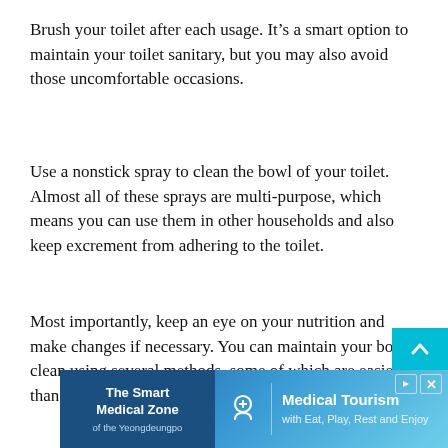Brush your toilet after each usage. It's a smart option to maintain your toilet sanitary, but you may also avoid those uncomfortable occasions.
Use a nonstick spray to clean the bowl of your toilet. Almost all of these sprays are multi-purpose, which means you can use them in other households and also keep excrement from adhering to the toilet.
Most importantly, keep an eye on your nutrition and make changes if necessary. You can maintain your bowl clean using several methods, some of which are easier than others.
[Figure (other): Advertisement banner for 'The Smart Medical Zone of the Yeongdeungpo' featuring Medical Tourism with Eat, Play, Rest and Enjoy]